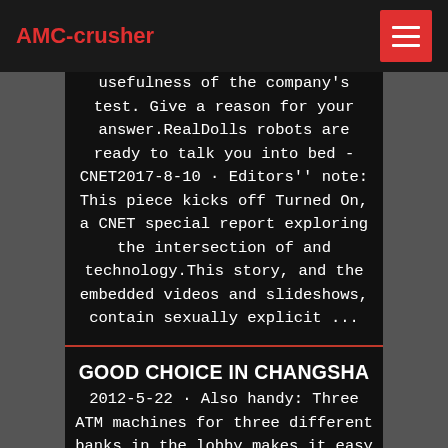AMC-crusher
usefulness of the company's test. Give a reason for your answer.RealDolls robots are ready to talk you into bed - CNET2017-8-10 · Editors'' note: This piece kicks off Turned On, a CNET special report exploring the intersection of and technology.This story, and the embedded videos and slideshows, contain sexually explicit ...
GOOD CHOICE IN CHANGSHA
2012-5-22 · Also handy: Three ATM machines for three different banks in the lobby makes it easy to get cash. We booked on ctrip and got a very good price for a pair of twin rooms. The English abilities of the desk staff are not great, but they make up for it with friendliness. The "overenthusiastic doorman" mentioned in